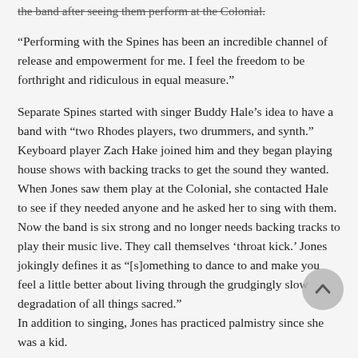the band after seeing them perform at the Colonial.
“Performing with the Spines has been an incredible channel of release and empowerment for me. I feel the freedom to be forthright and ridiculous in equal measure.”
Separate Spines started with singer Buddy Hale’s idea to have a band with “two Rhodes players, two drummers, and synth.” Keyboard player Zach Hake joined him and they began playing house shows with backing tracks to get the sound they wanted. When Jones saw them play at the Colonial, she contacted Hale to see if they needed anyone and he asked her to sing with them. Now the band is six strong and no longer needs backing tracks to play their music live. They call themselves ‘throat kick.’ Jones jokingly defines it as “[s]omething to dance to and make you feel a little better about living through the grudgingly slow degradation of all things sacred.”
In addition to singing, Jones has practiced palmistry since she was a kid.
“It’s fascinating to me that people’s idiosyncrasies affect the way that they carry their body, which is manifested in what they